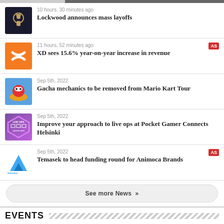10 hours, 30 minutes ago — Lockwood announces mass layoffs
11 hours, 52 minutes ago — XD sees 15.6% year-on-year increase in revenue [AS]
Sep 5th, 2022 — Gacha mechanics to be removed from Mario Kart Tour
Sep 5th, 2022 — Improve your approach to live ops at Pocket Gamer Connects Helsinki
Sep 5th, 2022 — Temasek to head funding round for Animoca Brands [AS]
See more News »
EVENTS
[Figure (logo): Pocket Gamer Connects logo at bottom of page]